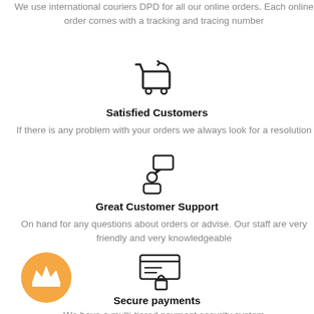We use international couriers DPD for all our online orders. Each online order comes with a tracking and tracing number
[Figure (illustration): Shopping cart with return arrow icon]
Satisfied Customers
If there is any problem with your orders we always look for a resolution
[Figure (illustration): Person with speech bubble / customer support icon]
Great Customer Support
On hand for any questions about orders or advise. Our staff are very friendly and very knowledgeable
[Figure (illustration): Secure payment / credit card with lock icon]
[Figure (illustration): Orange circle badge with crown icon]
Secure payments
We have a multi-tiered payment security system